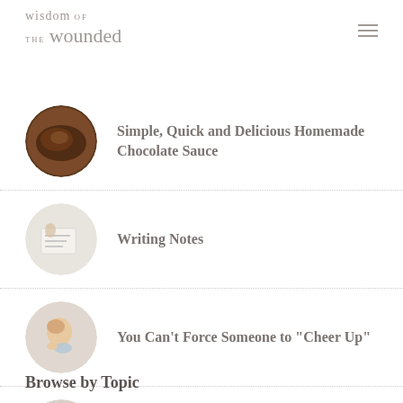wisdom of the wounded
Simple, Quick and Delicious Homemade Chocolate Sauce
Writing Notes
You Can’t Force Someone to “Cheer Up”
Kleenex and a Hug, Please
Browse by Topic